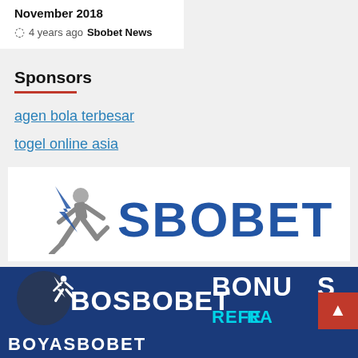November 2018
4 years ago  Sbobet News
Sponsors
agen bola terbesar
togel online asia
[Figure (logo): SBOBET logo with running figure icon on white background]
[Figure (logo): BOSBOBET banner with BONUS REFERRAL text on dark blue background]
[Figure (logo): Partial banner at bottom]